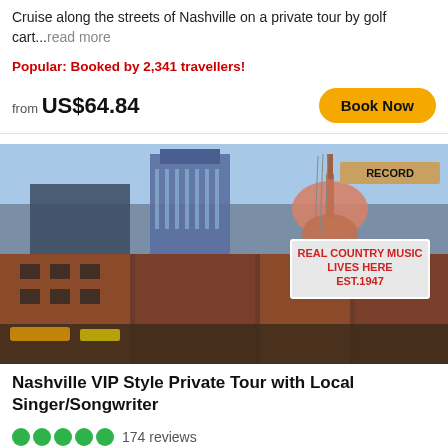Cruise along the streets of Nashville on a private tour by golf cart...read more
Popular: Booked by 2,341 travellers!
from US$64.84
Book Now
[Figure (photo): Street scene of Nashville with the AT&T Batman Building skyscraper, neon signs, a guitar sign, and a marquee reading REAL COUNTRY MUSIC LIVES HERE EST. 1947]
Nashville VIP Style Private Tour with Local Singer/Songwriter
174 reviews
Taking safety measures